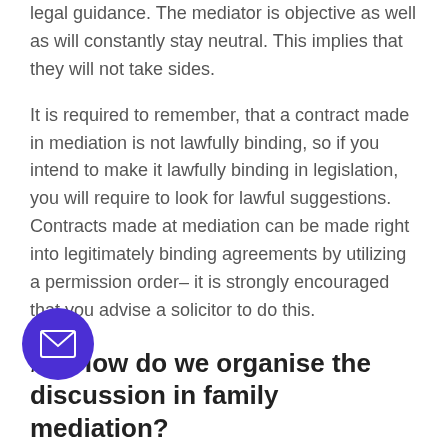legal guidance. The mediator is objective as well as will constantly stay neutral. This implies that they will not take sides.
It is required to remember, that a contract made in mediation is not lawfully binding, so if you intend to make it lawfully binding in legislation, you will require to look for lawful suggestions. Contracts made at mediation can be made right into legitimately binding agreements by utilizing a permission order– it is strongly encouraged that you advise a solicitor to do this.
# 6 How do we organise the discussion in family mediation?
Mediation has to do with collaborating with your mediator as well as ex-partner, to try to find an